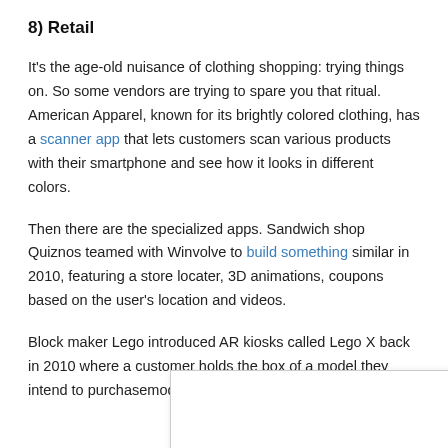8) Retail
It's the age-old nuisance of clothing shopping: trying things on. So some vendors are trying to spare you that ritual. American Apparel, known for its brightly colored clothing, has a scanner app that lets customers scan various products with their smartphone and see how it looks in different colors.
Then there are the specialized apps. Sandwich shop Quiznos teamed with Winvolve to build something similar in 2010, featuring a store locater, 3D animations, coupons based on the user's location and videos.
Block maker Lego introduced AR kiosks called Lego X back in 2010 where a customer holds the box of a model they intend to purchase model w for